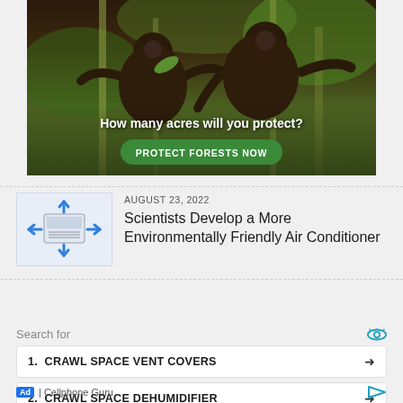[Figure (photo): Two dark-furred monkeys (possibly tamarins or marmosets) on bamboo branches in a green forest setting. Text overlay reads 'How many acres will you protect?' with a green button 'PROTECT FORESTS NOW']
[Figure (illustration): Illustration of an air conditioner unit with blue arrows pointing outward in four directions, suggesting airflow]
AUGUST 23, 2022
Scientists Develop a More Environmentally Friendly Air Conditioner
Search for
1.  CRAWL SPACE VENT COVERS →
2.  CRAWL SPACE DEHUMIDIFIER →
Ad | Cellphone Guru